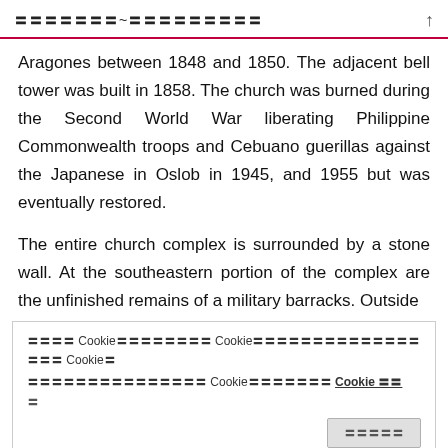〓〓〓〓〓〓〓~〓〓〓〓〓〓〓〓〓
Aragones between 1848 and 1850. The adjacent bell tower was built in 1858. The church was burned during the Second World War liberating Philippine Commonwealth troops and Cebuano guerillas against the Japanese in Oslob in 1945, and 1955 but was eventually restored.
The entire church complex is surrounded by a stone wall. At the southeastern portion of the complex are the unfinished remains of a military barracks. Outside
〓〓〓〓 Cookie〓〓〓〓〓〓〓〓 Cookie〓〓〓〓〓〓〓〓〓〓〓〓〓〓〓〓〓 Cookie〓 〓〓〓〓〓〓〓〓〓〓〓〓〓〓〓 Cookie〓〓〓〓〓〓〓 Cookie 〓〓
The church is connected to the parish house or